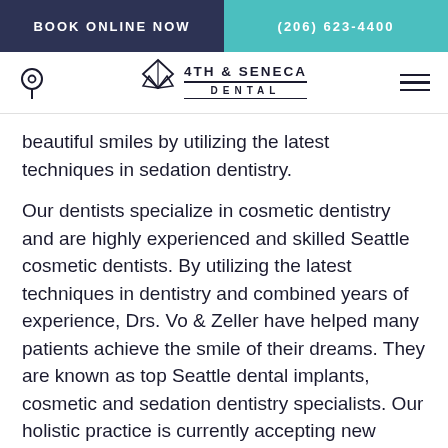BOOK ONLINE NOW | (206) 623-4400
[Figure (logo): 4th & Seneca Dental logo with geometric diamond shape and navigation bar with location pin icon and hamburger menu]
beautiful smiles by utilizing the latest techniques in sedation dentistry.
Our dentists specialize in cosmetic dentistry and are highly experienced and skilled Seattle cosmetic dentists. By utilizing the latest techniques in dentistry and combined years of experience, Drs. Vo & Zeller have helped many patients achieve the smile of their dreams. They are known as top Seattle dental implants, cosmetic and sedation dentistry specialists. Our holistic practice is currently accepting new patients!